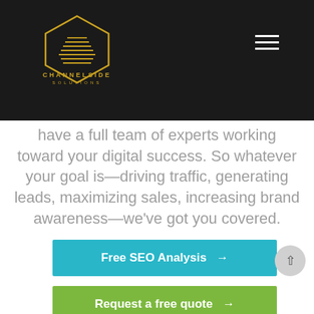[Figure (logo): Channelside Solutions logo: golden hexagon wireframe with stacked lines inside, text CHANNELSIDE SOLUTIONS below in gold/yellow letters]
have a full team of experts working toward your digital success. So whatever your goal is—driving traffic, generating leads, maximizing sales, increasing brand awareness—we've got you covered.
Free SEO Analysis →
Request a free quote →